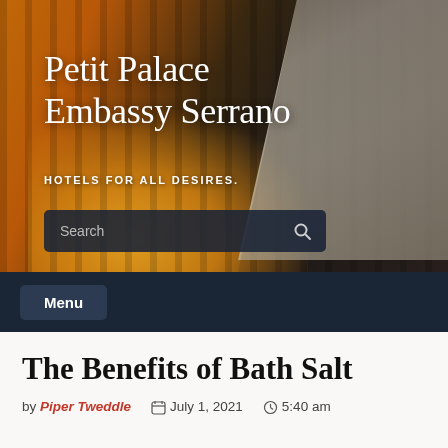[Figure (photo): Hotel room banner image showing warm amber-lit interior with wooden slat wall panels and white bed pillows, with text overlay of hotel name and tagline, plus a search bar.]
Petit Palace Embassy Serrano
HOTELS FOR ALL DESIRES.
Search
Menu
The Benefits of Bath Salt
by Piper Tweddle   🗓 July 1, 2021   🕐 5:40 am